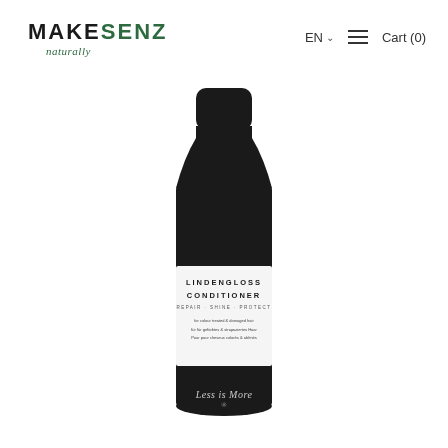MAKESENZ naturally | EN ∨ ≡ Cart (0)
[Figure (photo): Product photo of a dark/black cylindrical bottle of Lindengloss Conditioner by Less is More. The bottle has a black pump/cap top, a white label in the middle reading 'LINDENGLOSS CONDITIONER REPAIR · SHINE · PROTECT for colour treated & damaged hair', and 'Less is More' branding at the bottom.]